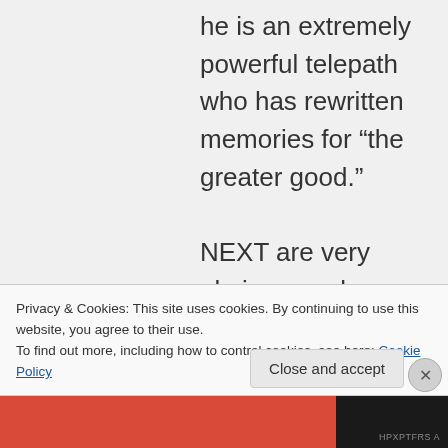he is an extremely powerful telepath who has rewritten memories for “the greater good.”

NEXT are very obvious analogues of mutants, and how they were treated in the past is very
Privacy & Cookies: This site uses cookies. By continuing to use this website, you agree to their use.
To find out more, including how to control cookies, see here: Cookie Policy
Close and accept